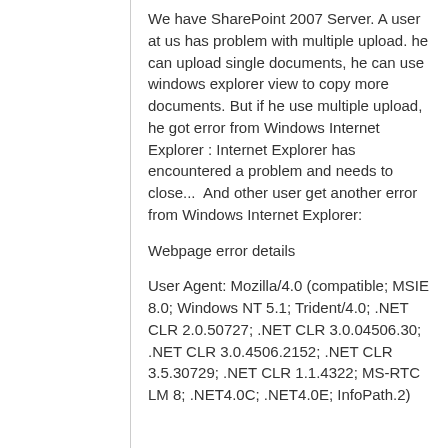We have SharePoint 2007 Server. A user at us has problem with multiple upload. he can upload single documents, he can use windows explorer view to copy more documents. But if he use multiple upload, he got error from Windows Internet Explorer : Internet Explorer has encountered a problem and needs to close...  And other user get another error from Windows Internet Explorer:
Webpage error details
User Agent: Mozilla/4.0 (compatible; MSIE 8.0; Windows NT 5.1; Trident/4.0; .NET CLR 2.0.50727; .NET CLR 3.0.04506.30; .NET CLR 3.0.4506.2152; .NET CLR 3.5.30729; .NET CLR 1.1.4322; MS-RTC LM 8; .NET4.0C; .NET4.0E; InfoPath.2)